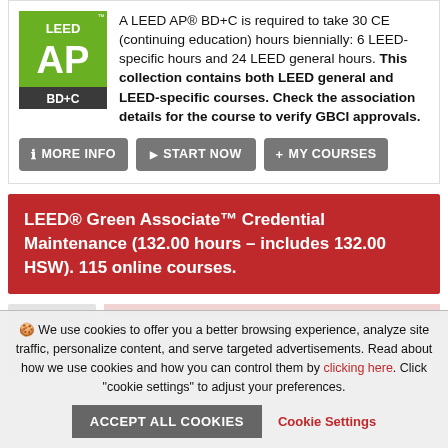[Figure (logo): LEED AP BD+C logo — green square with 'LEED' in white at top, large white 'AP' in center, dark grey band at bottom with 'BD+C' in white]
A LEED AP® BD+C is required to take 30 CE (continuing education) hours biennially: 6 LEED-specific hours and 24 LEED general hours. This collection contains both LEED general and LEED-specific courses. Check the association details for the course to verify GBCI approvals.
MORE INFO  START NOW  MY COURSES
LEED® Green Associate™ Credential Maintenance (132.00 hours – includes 132.00 HSW). 115 online courses.
🍪 We use cookies to offer you a better browsing experience, analyze site traffic, personalize content, and serve targeted advertisements. Read about how we use cookies and how you can control them by clicking here. Click "cookie settings" to adjust your preferences.
ACCEPT ALL COOKIES   Cookie Settings